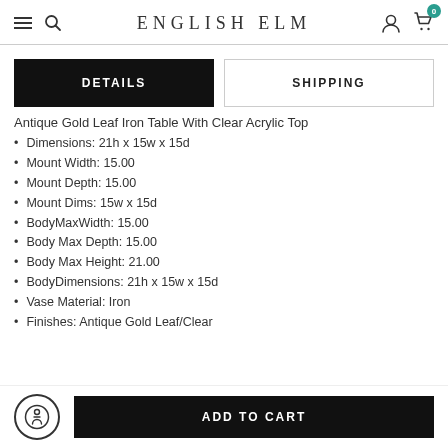ENGLISH ELM
DETAILS | SHIPPING
Antique Gold Leaf Iron Table With Clear Acrylic Top
Dimensions: 21h x 15w x 15d
Mount Width: 15.00
Mount Depth: 15.00
Mount Dims: 15w x 15d
BodyMaxWidth: 15.00
Body Max Depth: 15.00
Body Max Height: 21.00
BodyDimensions: 21h x 15w x 15d
Vase Material: Iron
Finishes: Antique Gold Leaf/Clear